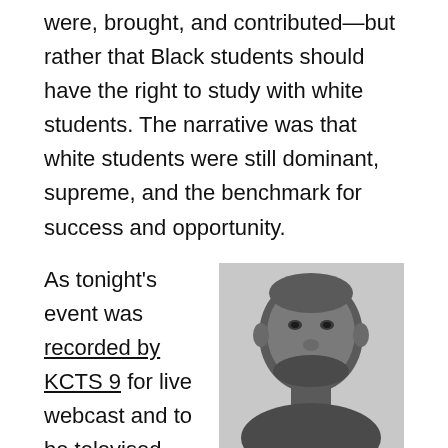were, brought, and contributed—but rather that Black students should have the right to study with white students. The narrative was that white students were still dominant, supreme, and the benchmark for success and opportunity.
As tonight's event was recorded by KCTS 9 for live webcast and to be televised Tuesday, April 9 at 7:00pm – host Enrique Cerna asked panelists to give closing thoughts at the end of the first hour which would end the televised portion of the evening. Marcus Brown (pictured right; source) was the last to speak, and he chose to share words that his mother had shared with him. Quote:
[Figure (photo): Black and white headshot photo of Marcus Brown, a smiling Black man with a shaved head and beard, shown from roughly the shoulders up.]